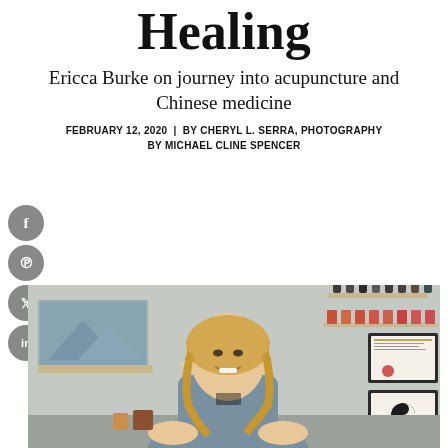Healing
Ericca Burke on journey into acupuncture and Chinese medicine
FEBRUARY 12, 2020 | BY CHERYL L. SERRA, PHOTOGRAPHY BY MICHAEL CLINE SPENCER
[Figure (photo): Portrait of Ericca Burke smiling in her acupuncture clinic, wearing a grey vest, with shelves of herbal medicine bottles and framed certificates on the wall behind her.]